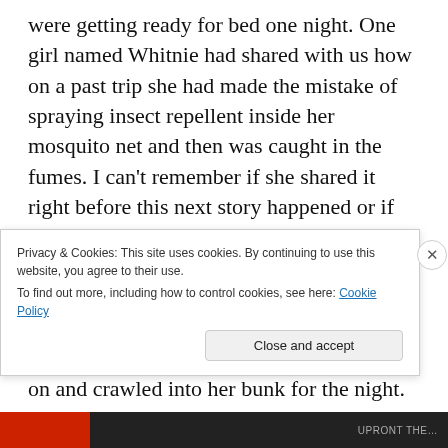were getting ready for bed one night. One girl named Whitnie had shared with us how on a past trip she had made the mistake of spraying insect repellent inside her mosquito net and then was caught in the fumes. I can't remember if she shared it right before this next story happened or if she had shared it earlier in the week, but I remembered it and thought it was hilarious. So the girl on the bunk across from me asked if anyone had some bug repellent. I did, so I handed it to her and she put some on and crawled into her bunk for the night. Within a minute she started coughing and asked. “Can someone open the
Privacy & Cookies: This site uses cookies. By continuing to use this website, you agree to their use.
To find out more, including how to control cookies, see here: Cookie Policy
Close and accept